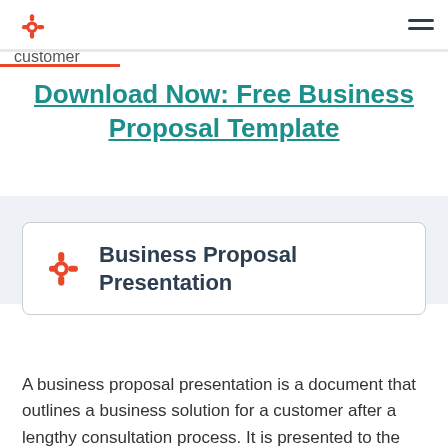HubSpot logo and navigation menu
customer
Download Now: Free Business Proposal Template
[Figure (screenshot): HubSpot branded card showing 'Business Proposal Presentation' with HubSpot logo]
A business proposal presentation is a document that outlines a business solution for a customer after a lengthy consultation process. It is presented to the